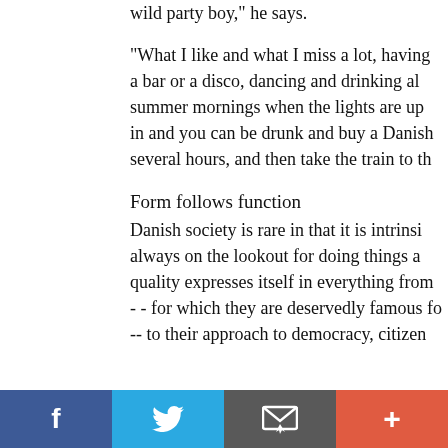wild party boy," he says.
"What I like and what I miss a lot, having a bar or a disco, dancing and drinking a... summer mornings when the lights are up in and you can be drunk and buy a Danis... several hours, and then take the train to th...
Form follows function
Danish society is rare in that it is intrins... always on the lookout for doing things a... quality expresses itself in everything from - - for which they are deservedly famous f... -- to their approach to democracy, citizen...
[Figure (infographic): Social media share bar with four buttons: Facebook (blue), Twitter (light blue), Email/envelope (dark grey), Plus/more (orange-red)]